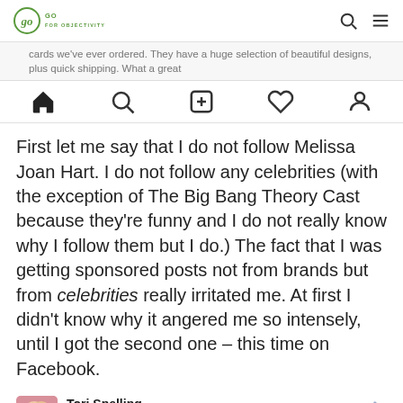go (objectivity) logo with search and menu icons
cards we've ever ordered. They have a huge selection of beautiful designs, plus quick shipping. What a great
[Figure (screenshot): Instagram-style navigation bar with home, search, plus, heart, and profile icons]
First let me say that I do not follow Melissa Joan Hart. I do not follow any celebrities (with the exception of The Big Bang Theory Cast because they're funny and I do not really know why I follow them but I do.) The fact that I was getting sponsored posts not from brands but from celebrities really irritated me. At first I didn't know why it angered me so intensely, until I got the second one – this time on Facebook.
[Figure (screenshot): Facebook post from Tori Spelling marked as Sponsored with a globe icon and a thumbs up icon]